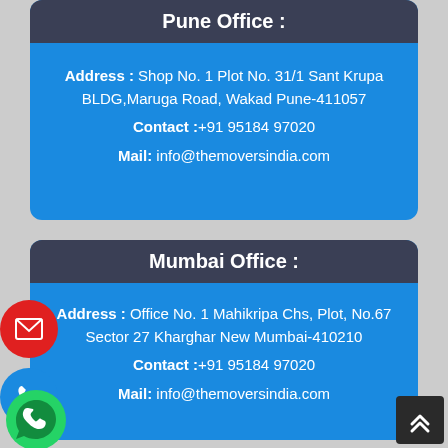Pune Office :
Address : Shop No. 1 Plot No. 31/1 Sant Krupa BLDG,Maruga Road, Wakad Pune-411057
Contact :+91 95184 97020
Mail: info@themoversindia.com
Mumbai Office :
Address : Office No. 1 Mahikripa Chs, Plot, No.67 Sector 27 Kharghar New Mumbai-410210
Contact :+91 95184 97020
Mail: info@themoversindia.com
[Figure (illustration): Red circular email button, blue circular phone button, green WhatsApp button on the left side]
[Figure (illustration): Dark back-to-top button in the bottom right corner]